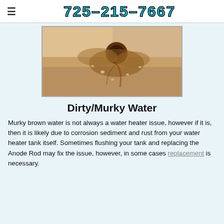725-215-7667
[Figure (photo): Close-up photo of a bathtub drain with brown/rust-colored murky water and sediment around it on a white tub surface.]
Dirty/Murky Water
Murky brown water is not always a water heater issue, however if it is, then it is likely due to corrosion sediment and rust from your water heater tank itself. Sometimes flushing your tank and replacing the Anode Rod may fix the issue, however, in some cases replacement is necessary.